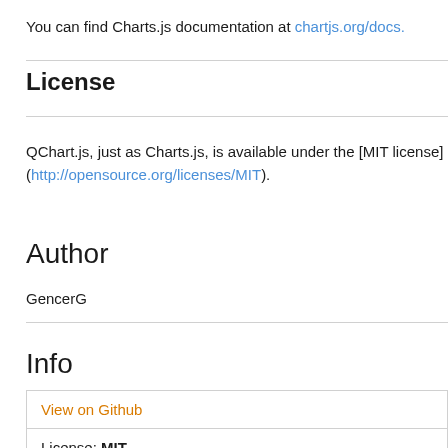You can find Charts.js documentation at chartjs.org/docs.
License
QChart.js, just as Charts.js, is available under the [MIT license] (http://opensource.org/licenses/MIT).
Author
GencerG
Info
| View on Github |
| License: MIT |